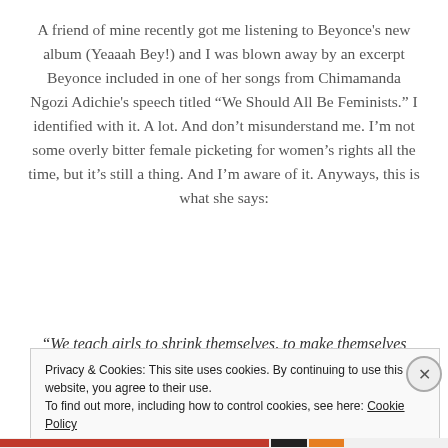A friend of mine recently got me listening to Beyonce's new album (Yeaaah Bey!) and I was blown away by an excerpt Beyonce included in one of her songs from Chimamanda Ngozi Adichie's speech titled “We Should All Be Feminists.” I identified with it. A lot. And don’t misunderstand me. I’m not some overly bitter female picketing for women’s rights all the time, but it’s still a thing. And I’m aware of it. Anyways, this is what she says:
“We teach girls to shrink themselves, to make themselves
Privacy & Cookies: This site uses cookies. By continuing to use this website, you agree to their use.
To find out more, including how to control cookies, see here: Cookie Policy
Close and accept